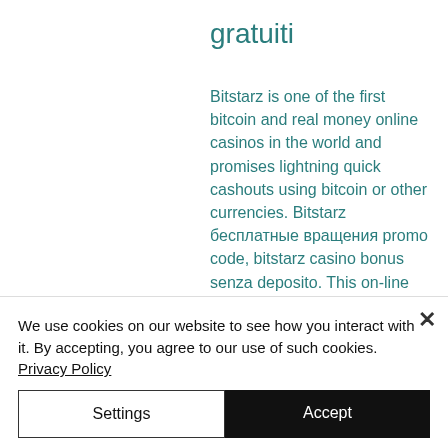gratuiti
Bitstarz is one of the first bitcoin and real money online casinos in the world and promises lightning quick cashouts using bitcoin or other currencies. Bitstarz бесплатные вращения promo code, bitstarz casino bonus senza deposito. This on-line on line casino can also be new to the gaming. Senzori, dispozitive de măsurare și sisteme cu precizie ridicată | micro-epsilon forum - member profile &gt; profile page. Social market place forum - member profile &gt; profile
We use cookies on our website to see how you interact with it. By accepting, you agree to our use of such cookies. Privacy Policy
Settings
Accept